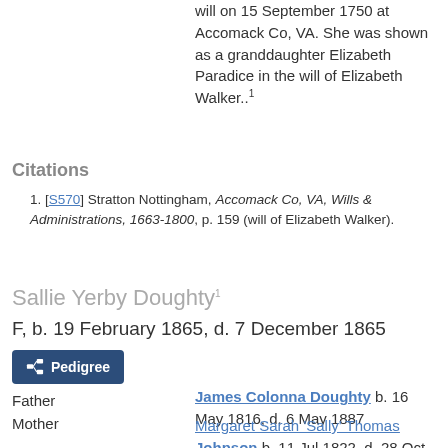will on 15 September 1750 at Accomack Co, VA. She was shown as a granddaughter Elizabeth Paradice in the will of Elizabeth Walker..1
Citations
1. [S570] Stratton Nottingham, Accomack Co, VA, Wills & Administrations, 1663-1800, p. 159 (will of Elizabeth Walker).
Sallie Yerby Doughty1
F, b. 19 February 1865, d. 7 December 1865
Father
James Colonna Doughty b. 16 May 1816, d. 6 May 1887
Mother
Margaret Sarah 'Sally' Thomas Johnson b. 11 Jul 1822, d. 28 Oct 1911